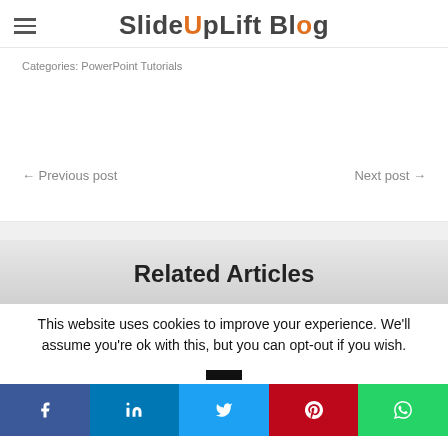SlideUpLift Blog
Categories: PowerPoint Tutorials
← Previous post
Next post →
Related Articles
This website uses cookies to improve your experience. We'll assume you're ok with this, but you can opt-out if you wish.